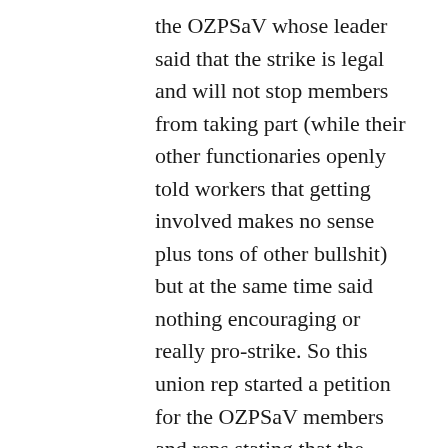the OZPSaV whose leader said that the strike is legal and will not stop members from taking part (while their other functionaries openly told workers that getting involved makes no sense plus tons of other bullshit) but at the same time said nothing encouraging or really pro-strike. So this union rep started a petition for the OZPSaV members and reps stating that the union cannot stand apart from its members who face intimidation during the strike and very bad wage conditions in general. That is on the positive note. The not so positive part of the petition (potentially) could be the demand for the union to step in and negotiate the solution to the unsustainable situation of the workers.